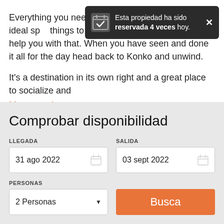[Figure (infographic): Notification toast: dark background, calendar checkmark icon, text 'Esta propiedad ha sido reservada 4 veces hoy.' with close X button]
Everything you need ... definitely the ideal sp... things to do in the 'Bi... and we can help you with that. When you have seen and done it all for the day head back to Konko and unwind.

It's a destination in its own right and a great place to socialize and
Mostrar más
Comprobar disponibilidad
LLEGADA
31 ago 2022
SALIDA
03 sept 2022
PERSONAS
2 Personas
Busca